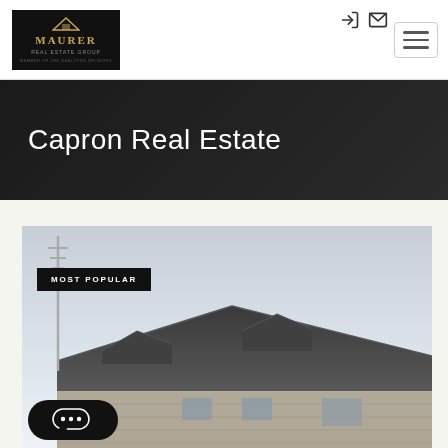[Figure (logo): Maurer Real Estate Group logo — black background with gold text]
Capron Real Estate
[Figure (photo): Exterior photo of a large residential home with dark shingle roof and stone facade, with a tall antenna/pole in the foreground]
MOST POPULAR